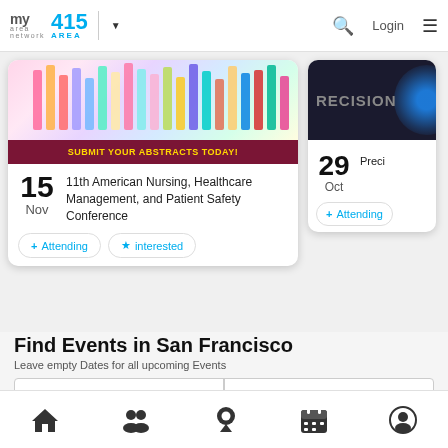my area network | 415 AREA | Login
[Figure (screenshot): Event card for 11th American Nursing, Healthcare Management, and Patient Safety Conference on Nov 15, with +Attending and interested buttons. Partial card for Precision event on Oct 29 with +Attending button.]
Find Events in San Francisco
Leave empty Dates for all upcoming Events
From Date
To Date
Get Tickets
Home | Groups | Location | Calendar | Profile